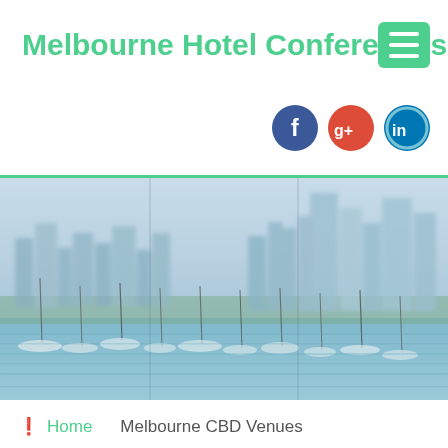Melbourne Hotel Conferences
[Figure (illustration): Green hamburger menu icon (three white horizontal lines on green rounded rectangle background)]
[Figure (illustration): Social media icons: Facebook (blue circle with f), Google+ (red circle with g+), LinkedIn (teal-bordered circle with in)]
[Figure (photo): Melbourne city skyline with harbour and sailboats in foreground, blurred/soft focus]
Home   Melbourne CBD Venues